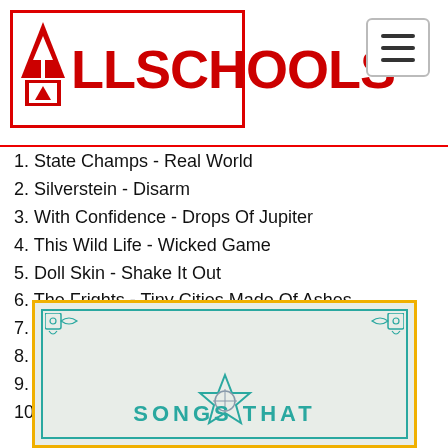ALLSCHOOLS
1. State Champs - Real World
2. Silverstein - Disarm
3. With Confidence - Drops Of Jupiter
4. This Wild Life - Wicked Game
5. Doll Skin - Shake It Out
6. The Frights - Tiny Cities Made Of Ashes
7. Mayday Parade - New Years Project
8. The Red Jumpsuit Apparatus - Trust
9. Sharptooth - Die For The Government
10. Trash Boat - Given Up
[Figure (illustration): Decorative label-style graphic with teal border and corner ornaments, reading 'SONGS THAT' at the bottom with a star/compass emblem in the center.]